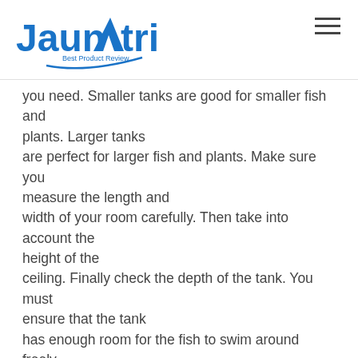Jaunatri — Best Product Review
you need. Smaller tanks are good for smaller fish and plants. Larger tanks are perfect for larger fish and plants. Make sure you measure the length and width of your room carefully. Then take into account the height of the ceiling. Finally check the depth of the tank. You must ensure that the tank has enough room for the fish to swim around freely.
Lighting Is Important
Fish tanks need light to survive. Natural lighting is preferable to artificial lighting